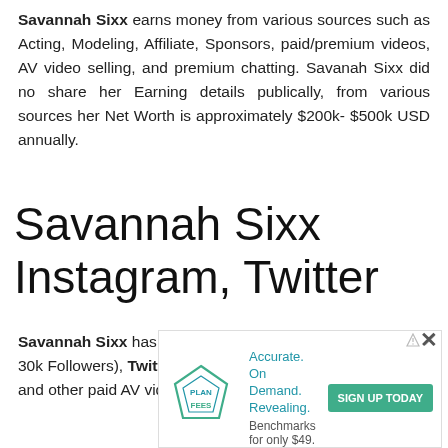Savannah Sixx earns money from various sources such as Acting, Modeling, Affiliate, Sponsors, paid/premium videos, AV video selling, and premium chatting. Savanah Sixx did no share her Earning details publically, from various sources her Net Worth is approximately $200k- $500k USD annually.
Savannah Sixx Instagram, Twitter
Savannah Sixx has big fan followers on Instagram (153k + 30k Followers), Twitter (120k Followers), TikTok. Facebook, and other paid AV video websites. Every d
[Figure (other): Advertisement banner for 'Plan Fees' service. Shows a diamond logo with text 'PLAN FEES', tagline 'Accurate. On Demand. Revealing. Benchmarks for only $49.' with a teal 'SIGN UP TODAY' button.]